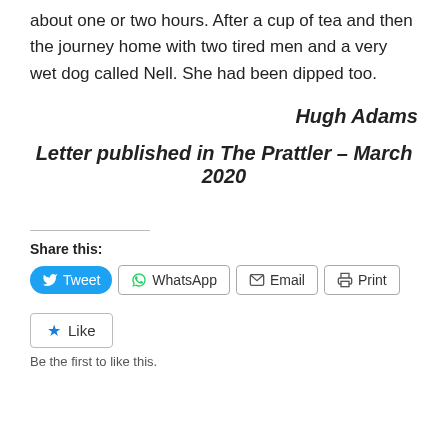about one or two hours. After a cup of tea and then the journey home with two tired men and a very wet dog called Nell. She had been dipped too.
Hugh Adams
Letter published in The Prattler – March 2020
Share this:
Tweet | WhatsApp | Email | Print
Like
Be the first to like this.